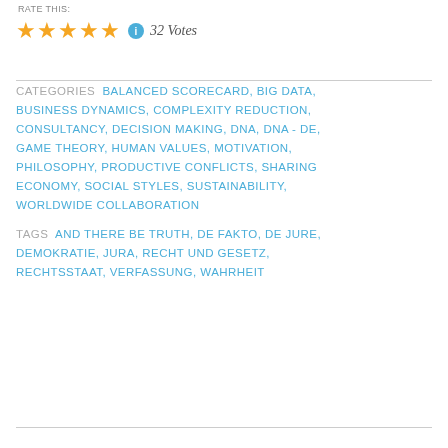RATE THIS:
[Figure (other): Five yellow star rating icons followed by a blue info circle icon and italic text '32 Votes']
CATEGORIES  BALANCED SCORECARD, BIG DATA, BUSINESS DYNAMICS, COMPLEXITY REDUCTION, CONSULTANCY, DECISION MAKING, DNA, DNA - DE, GAME THEORY, HUMAN VALUES, MOTIVATION, PHILOSOPHY, PRODUCTIVE CONFLICTS, SHARING ECONOMY, SOCIAL STYLES, SUSTAINABILITY, WORLDWIDE COLLABORATION
TAGS  AND THERE BE TRUTH, DE FAKTO, DE JURE, DEMOKRATIE, JURA, RECHT UND GESETZ, RECHTSSTAAT, VERFASSUNG, WAHRHEIT